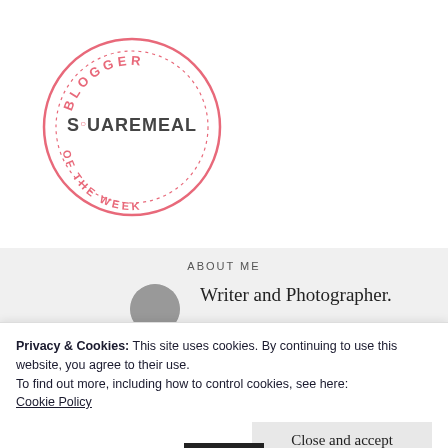[Figure (logo): SquareMeal Blogger of the Week circular badge/stamp logo in pink. Circle border with dotted inner ring, text 'BLOGGER' at top arc, 'SQUAREMEAL' in center, 'OF THE WEEK' at bottom arc.]
ABOUT ME
Writer and Photographer.
Privacy & Cookies: This site uses cookies. By continuing to use this website, you agree to their use.
To find out more, including how to control cookies, see here:
Cookie Policy